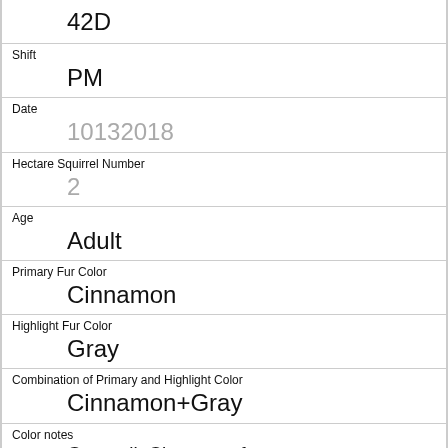42D
Shift
PM
Date
10132018
Hectare Squirrel Number
2
Age
Adult
Primary Fur Color
Cinnamon
Highlight Fur Color
Gray
Combination of Primary and Highlight Color
Cinnamon+Gray
Color notes
Gray tail, Cinnamon feet
Location
Ground Plane
Above Ground Sighter Measurement
FALSE